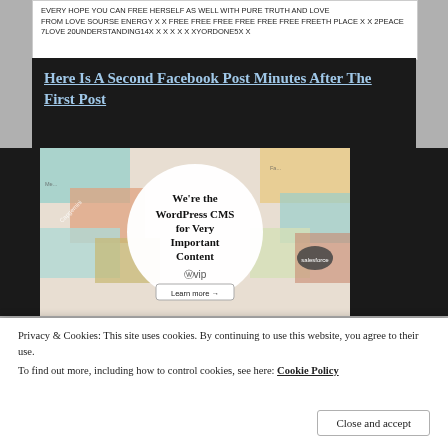[Figure (screenshot): Facebook post screenshot showing text about love and free energy]
Here Is A Second Facebook Post Minutes After The First Post
[Figure (screenshot): WordPress VIP advertisement: 'We're the WordPress CMS for Very Important Content' with Learn more button]
Privacy & Cookies: This site uses cookies. By continuing to use this website, you agree to their use.
To find out more, including how to control cookies, see here: Cookie Policy
Close and accept
Duane Peters